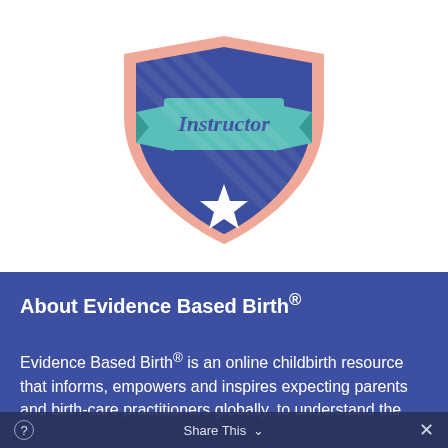[Figure (illustration): A badge/emblem illustration featuring a shield shape in dark blue with a salmon/pink outline, a teal ribbon banner across the middle with cursive text 'Instructor', and a white star at the bottom center of the shield.]
About Evidence Based Birth®
Evidence Based Birth® is an online childbirth resource that informs, empowers and inspires expecting parents and birth-care practitioners globally, to understand the